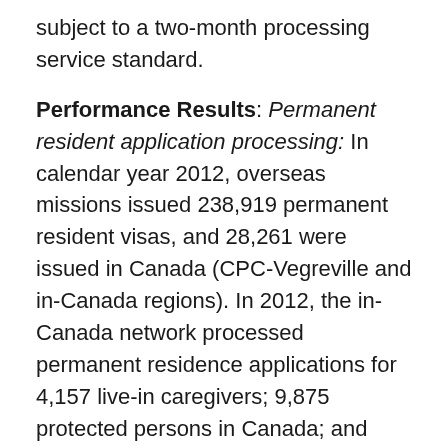subject to a two-month processing service standard.
Performance Results: Permanent resident application processing: In calendar year 2012, overseas missions issued 238,919 permanent resident visas, and 28,261 were issued in Canada (CPC-Vegreville and in-Canada regions). In 2012, the in-Canada network processed permanent residence applications for 4,157 live-in caregivers; 9,875 protected persons in Canada; and 8,911 spouses, partners and children.
In the 2012–13 fiscal year, performance